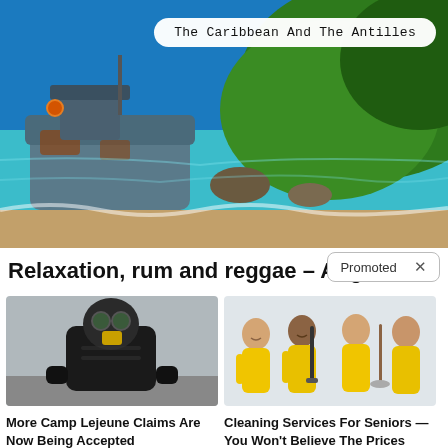[Figure (photo): Caribbean coastal scene with a rusted shipwreck on a beach, turquoise water, and green hillside in background]
The Caribbean And The Antilles
Relaxation, rum and reggae – Angui…an
Promoted ×
[Figure (photo): Person in full hazmat suit with gas mask and black gloves]
More Camp Lejeune Claims Are Now Being Accepted
🔥 2,652
[Figure (photo): Four women in yellow cleaning uniforms holding cleaning equipment, smiling]
Cleaning Services For Seniors — You Won't Believe The Prices
🔥 6,698